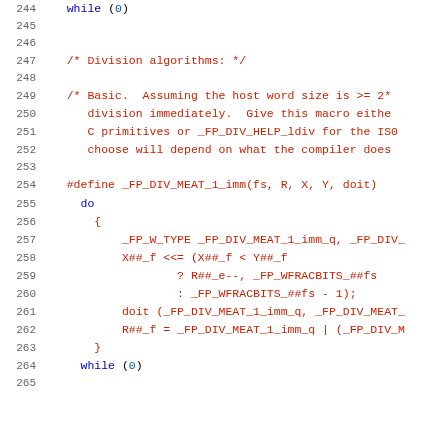Source code listing, lines 244-265, showing division algorithm macro definitions in C
244     while (0)
245
246
247     /* Division algorithms: */
248
249     /* Basic.  Assuming the host word size is >= 2*
250         division immediately.  Give this macro eithe
251         C primitives or _FP_DIV_HELP_ldiv for the IS0
252         choose will depend on what the compiler does
253
254     #define _FP_DIV_MEAT_1_imm(fs, R, X, Y, doit)
255       do
256         {
257             _FP_W_TYPE _FP_DIV_MEAT_1_imm_q, _FP_DIV_
258             X##_f <<= (X##_f < Y##_f
259                     ? R##_e--, _FP_WFRACBITS_##fs
260                     : _FP_WFRACBITS_##fs - 1);
261             doit (_FP_DIV_MEAT_1_imm_q, _FP_DIV_MEAT_
262             R##_f = _FP_DIV_MEAT_1_imm_q | (_FP_DIV_M
263         }
264       while (0)
265